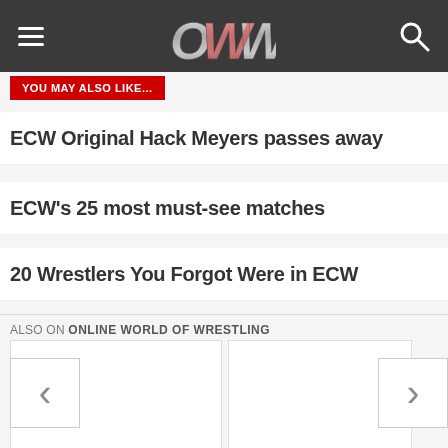OWW - Online World of Wrestling navigation bar
YOU MAY ALSO LIKE...
ECW Original Hack Meyers passes away
ECW's 25 most must-see matches
20 Wrestlers You Forgot Were in ECW
ALSO ON ONLINE WORLD OF WRESTLING
[Figure (screenshot): Two content card thumbnails with left and right navigation arrows, partially visible third card on the right edge]